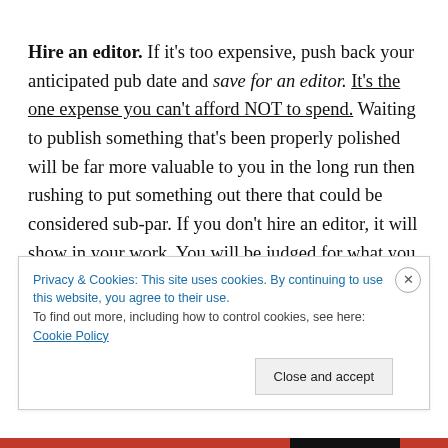Hire an editor. If it's too expensive, push back your anticipated pub date and save for an editor. It's the one expense you can't afford NOT to spend. Waiting to publish something that's been properly polished will be far more valuable to you in the long run then rushing to put something out there that could be considered sub-par. If you don't hire an editor, it will show in your work. You will be judged for what you publish. And in the long run, taking the shortcut of NOT hiring an editor could murder your
Privacy & Cookies: This site uses cookies. By continuing to use this website, you agree to their use. To find out more, including how to control cookies, see here: Cookie Policy
Close and accept